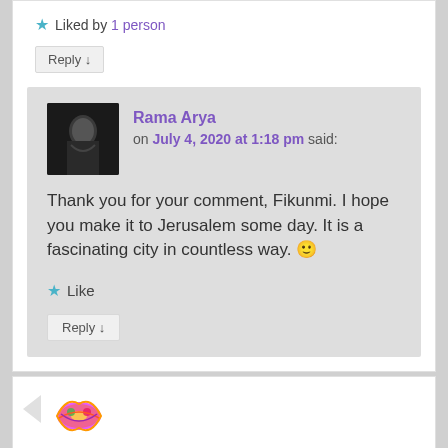★ Liked by 1 person
Reply ↓
Rama Arya on July 4, 2020 at 1:18 pm said:
Thank you for your comment, Fikunmi. I hope you make it to Jerusalem some day. It is a fascinating city in countless way. 🙂
★ Like
Reply ↓